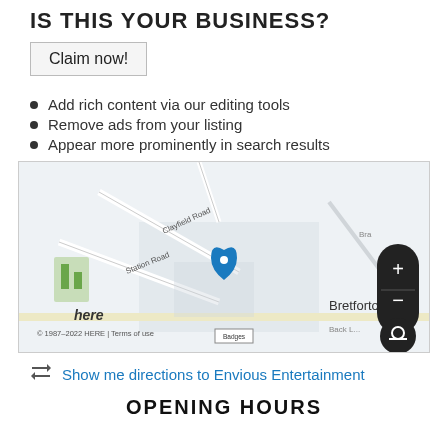IS THIS YOUR BUSINESS?
Claim now!
Add rich content via our editing tools
Remove ads from your listing
Appear more prominently in search results
[Figure (map): HERE map centered on Bretforton showing Clayfield Road, Station Road, Back Lane, with a blue location pin marker, zoom controls (+/-), and a layer button. Scale bar shows 500 m. Copyright 1987-2022 HERE. Terms of use link.]
Show me directions to Envious Entertainment
OPENING HOURS